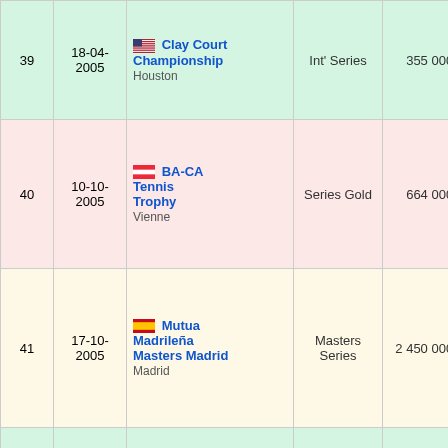| # | Date | Tournament | Series | Prize | Surface | Result |
| --- | --- | --- | --- | --- | --- | --- |
| 39 | 18-04-2005 | Clay Court Championship Houston | Int' Series | 355 000 $ | Terre (ext.) | Kno... |
| 40 | 10-10-2005 | BA-CA Tennis Trophy Vienne | Series Gold | 664 000 $ | Dur (int.) | Kno... |
| 41 | 17-10-2005 | Mutua Madrileña Masters Madrid Madrid | Masters Series | 2 450 000 $ | Dur (int.) | Kno... |
| 42 | 30-01-2006 | Delray Beach International Tennis Championships Delray Beach | Int' Series | 355 000 $ | Dur (ext.) | Kno... |
| 43 | 06-03-2006 | Pacific Life Open Indian Wells | Masters Series | 2 919 600 $ | Dur (ext.) | Kno... |
|  | 21-04-... | Open Seat... |  |  |  | ... |